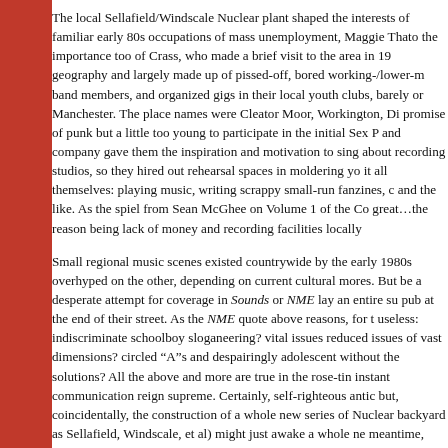The local Sellafield/Windscale Nuclear plant shaped the interests of familiar early 80s occupations of mass unemployment, Maggie Thatcher, the importance too of Crass, who made a brief visit to the area in 19... geography and largely made up of pissed-off, bored working-/lower-... band members, and organized gigs in their local youth clubs, barely or Manchester. The place names were Cleator Moor, Workington, Di... promise of punk but a little too young to participate in the initial Sex P... and company gave them the inspiration and motivation to sing about recording studios, so they hired out rehearsal spaces in moldering yo... it all themselves: playing music, writing scrappy small-run fanzines, ... and the like. As the spiel from Sean McGhee on Volume 1 of the Co... great…the reason being lack of money and recording facilities locally
Small regional music scenes existed countrywide by the early 1980s overhyped on the other, depending on current cultural mores. But be... a desperate attempt for coverage in Sounds or NME lay an entire su... pub at the end of their street. As the NME quote above reasons, for t... useless: indiscriminate schoolboy sloganeering? vital issues reduced issues of vast dimensions? circled "A"s and despairingly adolescent without the solutions? All the above and more are true in the rose-tin... instant communication reign supreme. Certainly, self-righteous antic... but, coincidentally, the construction of a whole new series of Nuclear backyard as Sellafield, Windscale, et al) might just awake a whole ne... meantime, these tapes are "rough" even by punk standards, with ba... remotely resembling a modern studio, but their sheer primitive verve